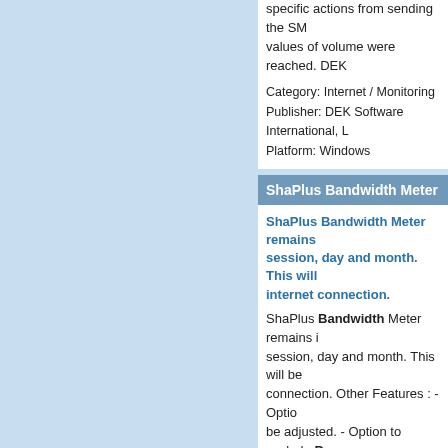specific actions from sending the SM... values of volume were reached. DEK...
Category: Internet / Monitoring
Publisher: DEK Software International, L...
Platform: Windows
ShaPlus Bandwidth Meter
ShaPlus Bandwidth Meter remains... session, day and month. This will... internet connection.
ShaPlus Bandwidth Meter remains in session, day and month. This will be connection. Other Features : - Option be adjusted. - Option to exclude Ban...
Category: Internet
Publisher: ShaPlus Software, License: F...
Platform: Windows
ANWIDA Soft L1V
The L1V is a professional limiter/m...
The L1V is a professional Limiter/ma... This unit provides extremely transpa... be used both to control the dynamics... Particular care has been taken in cre...
Category: Audio / Utilities & Plug-Ins
Publisher: ...License: F...